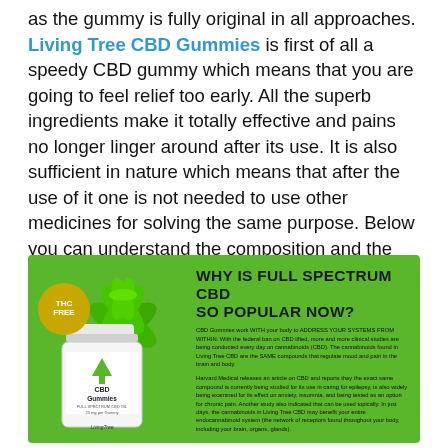as the gummy is fully original in all approaches. Living Tree CBD Gummies is first of all a speedy CBD gummy which means that you are going to feel relief too early. All the superb ingredients make it totally effective and pains no longer linger around after its use. It is also sufficient in nature which means that after the use of it one is not needed to use other medicines for solving the same purpose. Below you can understand the composition and the valuable herbs.
[Figure (infographic): Green infographic banner with CBD Gummies product jar, cannabis plant, THC FREE badge, and text 'WHY IS FULL SPECTRUM CBD SO POPULAR NOW?' with body text about CBD Gummies.]